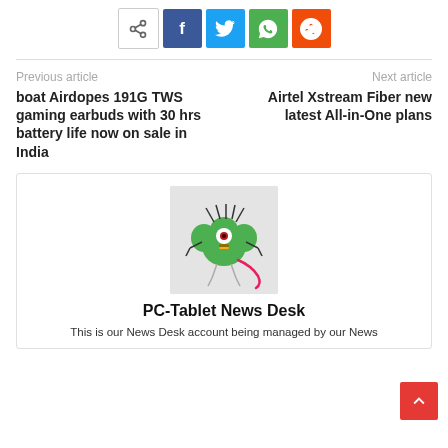[Figure (infographic): Social share buttons row: native share icon (white bg), Facebook (blue), Twitter (light blue), WhatsApp (green), Reddit (orange-red)]
Previous article
boat Airdopes 191G TWS gaming earbuds with 30 hrs battery life now on sale in India
Next article
Airtel Xstream Fiber new latest All-in-One plans
[Figure (illustration): PC-Tablet News Desk author avatar: cartoon green creature/mascot on light gray background]
PC-Tablet News Desk
This is our News Desk account being managed by our News